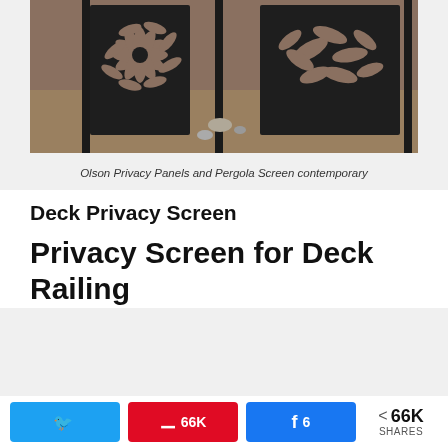[Figure (photo): Decorative dark metal privacy panels with floral/leaf cutout patterns installed outdoors on gravel ground]
Olson Privacy Panels and Pergola Screen contemporary
Deck Privacy Screen
Privacy Screen for Deck Railing
[Figure (photo): Two partially visible outdoor/deck photos side by side - left shows bare winter trees, right shows roofline of a house]
N  |  66K  |  6  |  < 66K SHARES